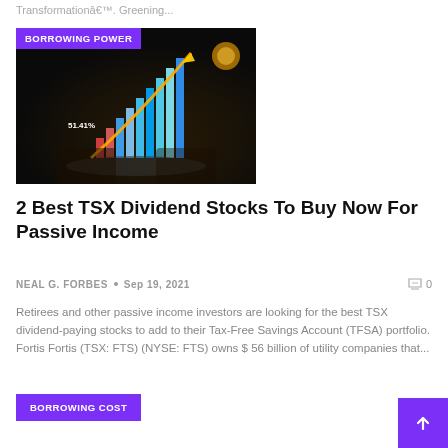Transformationâ€™. Greening...
[Figure (photo): Dark photo of person holding a glowing tablet displaying colorful 3D bar charts rising upward with a bright glowing arrow, labeled 51.41% on screen. Purple badge reading BORROWING POWER overlaid top-left.]
2 Best TSX Dividend Stocks To Buy Now For Passive Income
NEAL G. FORBES  •  Sep 19, 2021   0
Retirees and other passive income investors are looking for the best TSX dividend-paying stocks to add to their Tax-Free Savings Account (TFSA) portfolio. Fortis Fortis (TSX: FTS) (NYSE: FTS) owns $ 56 billion of utility companies that...
BORROWING COST